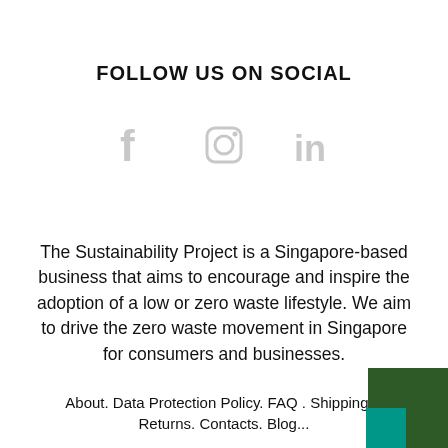FOLLOW US ON SOCIAL
[Figure (illustration): Three social media icons in grey: Facebook (f), Instagram (camera), LinkedIn (in)]
The Sustainability Project is a Singapore-based business that aims to encourage and inspire the adoption of a low or zero waste lifestyle. We aim to drive the zero waste movement in Singapore for consumers and businesses.
About. Data Protection Policy. FAQ . Shipping & Returns. Contacts. Blog...